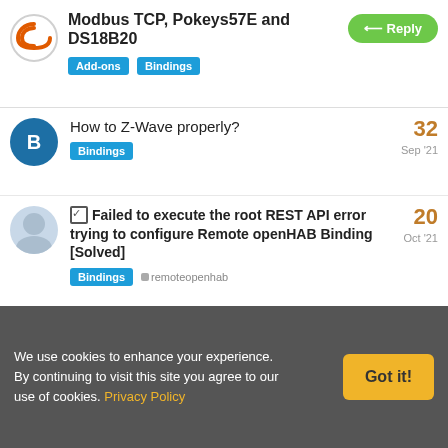Modbus TCP, Pokeys57E and DS18B20 — Add-ons Bindings
How to Z-Wave properly? | Bindings | 32 | Sep '21
Failed to execute the root REST API error trying to configure Remote openHAB Binding [Solved] | Bindings, remoteopenhab | 20 | Oct '21
Integrate existing KNX system | Bindings | 1 | Sep '21
DLINK DCS-932L IPCamera binding not Working | Bindings, ipcamera, image | 1 | Dec '21
We use cookies to enhance your experience. By continuing to visit this site you agree to our use of cookies. Privacy Policy